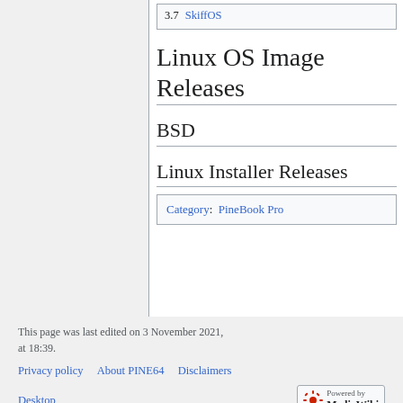3.7 SkiffOS
Linux OS Image Releases
BSD
Linux Installer Releases
Category:  PineBook Pro
This page was last edited on 3 November 2021, at 18:39.
Privacy policy   About PINE64   Disclaimers
Desktop